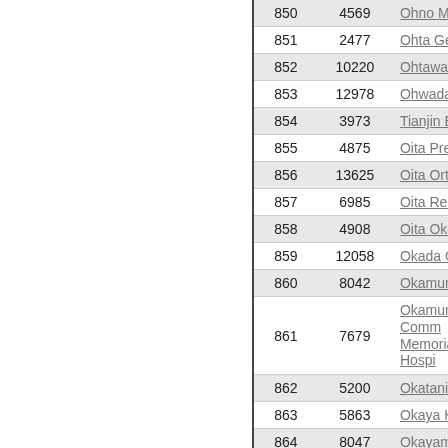| # | Value | Name |
| --- | --- | --- |
| 850 | 4569 | Ohno Memorial |
| 851 | 2477 | Ohta General H |
| 852 | 10220 | Ohtawara Red C |
| 853 | 12978 | Ohwada Hospita |
| 854 | 3973 | Tianjin Eye Hos |
| 855 | 4875 | Oita Prefectural |
| 856 | 13625 | Oita Orthopedic |
| 857 | 6985 | Oita Red Cross |
| 858 | 4908 | Oita Oka Hospit |
| 859 | 12058 | Okada Obstetric |
| 860 | 8042 | Okamura Hospi |
| 861 | 7679 | Okamura Comm Memorial Hospi |
| 862 | 5200 | Okatani Medica |
| 863 | 5863 | Okaya Hospital |
| 864 | 8047 | Okayama First H |
| 865 | 3754 | Okayama Rosai |